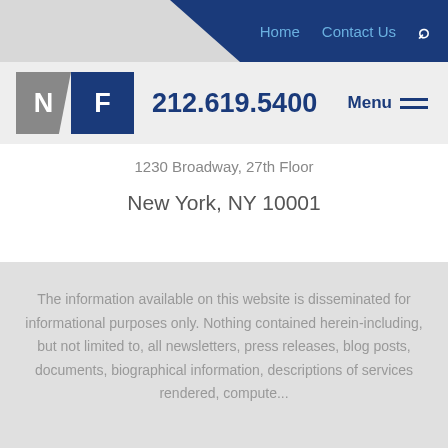Home  Contact Us  🔍
[Figure (logo): NF law firm logo with N in gray and F in dark blue, divided diagonally]
212.619.5400  Menu
1230 Broadway, 27th Floor
New York, NY 10001
The information available on this website is disseminated for informational purposes only. Nothing contained herein-including, but not limited to, all newsletters, press releases, blog posts, documents, biographical information, descriptions of services rendered, compu...